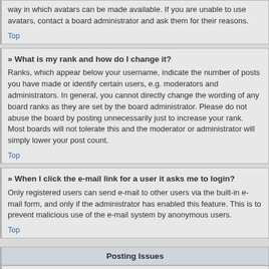way in which avatars can be made available. If you are unable to use avatars, contact a board administrator and ask them for their reasons.
Top
» What is my rank and how do I change it?
Ranks, which appear below your username, indicate the number of posts you have made or identify certain users, e.g. moderators and administrators. In general, you cannot directly change the wording of any board ranks as they are set by the board administrator. Please do not abuse the board by posting unnecessarily just to increase your rank. Most boards will not tolerate this and the moderator or administrator will simply lower your post count.
Top
» When I click the e-mail link for a user it asks me to login?
Only registered users can send e-mail to other users via the built-in e-mail form, and only if the administrator has enabled this feature. This is to prevent malicious use of the e-mail system by anonymous users.
Top
Posting Issues
» How do I post a topic in a forum?
To post a new topic in a forum, click the relevant button on either the forum or topic page. You may need to register before you...